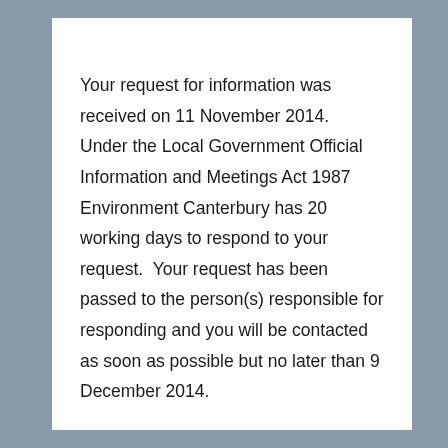Your request for information was received on 11 November 2014.  Under the Local Government Official Information and Meetings Act 1987 Environment Canterbury has 20 working days to respond to your request.  Your request has been passed to the person(s) responsible for responding and you will be contacted as soon as possible but no later than 9 December 2014.